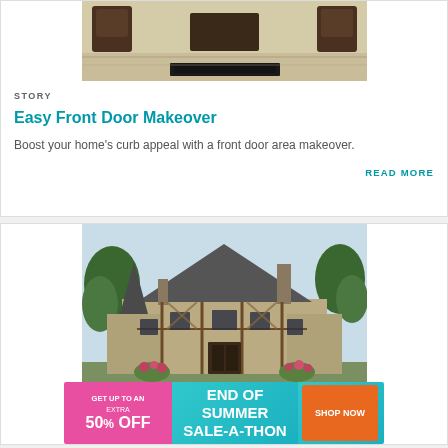[Figure (photo): Patio furniture and doormat outside a front door]
STORY
Easy Front Door Makeover
Boost your home's curb appeal with a front door area makeover.
READ MORE
[Figure (photo): Tudor-style manor house with stone and timber facade surrounded by trees]
[Figure (infographic): End of Summer Sale-A-Thon advertisement banner: Get up to an extra 50% off. Shop Now.]